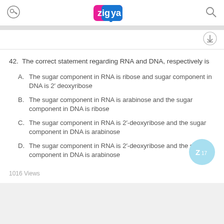zigya
42. The correct statement regarding RNA and DNA, respectively is
A. The sugar component in RNA is ribose and sugar component in DNA is 2' deoxyribose
B. The sugar component in RNA is arabinose and the sugar component in DNA is ribose
C. The sugar component in RNA is 2'-deoxyribose and the sugar component in DNA is arabinose
D. The sugar component in RNA is 2'-deoxyribose and the sugar component in DNA is arabinose
1016 Views